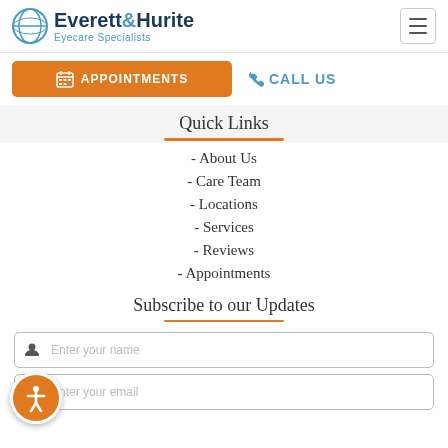Everett & Hurite Eyecare Specialists
APPOINTMENTS
CALL US
Quick Links
- About Us
- Care Team
- Locations
- Services
- Reviews
- Appointments
Subscribe to our Updates
Enter your name
Enter your email